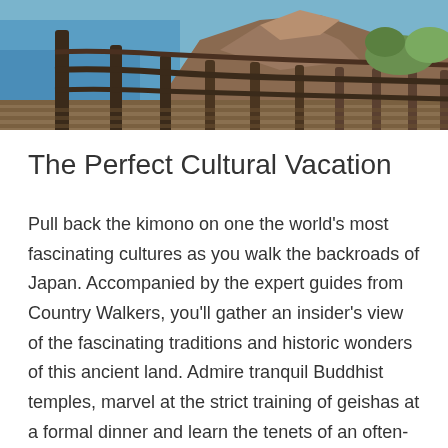[Figure (photo): Coastal scenic path with wooden fence/railing and rocky cliffs beside blue water, viewed from elevated walkway]
The Perfect Cultural Vacation
Pull back the kimono on one the world's most fascinating cultures as you walk the backroads of Japan. Accompanied by the expert guides from Country Walkers, you'll gather an insider's view of the fascinating traditions and historic wonders of this ancient land. Admire tranquil Buddhist temples, marvel at the strict training of geishas at a formal dinner and learn the tenets of an often-misunderstood Shugendo sect, which mixes martial